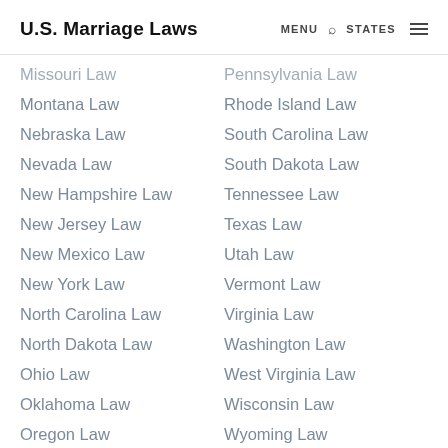U.S. Marriage Laws  MENU  STATES
Missouri Law
Montana Law
Nebraska Law
Nevada Law
New Hampshire Law
New Jersey Law
New Mexico Law
New York Law
North Carolina Law
North Dakota Law
Ohio Law
Oklahoma Law
Oregon Law
Pennsylvania Law
Rhode Island Law
South Carolina Law
South Dakota Law
Tennessee Law
Texas Law
Utah Law
Vermont Law
Virginia Law
Washington Law
West Virginia Law
Wisconsin Law
Wyoming Law